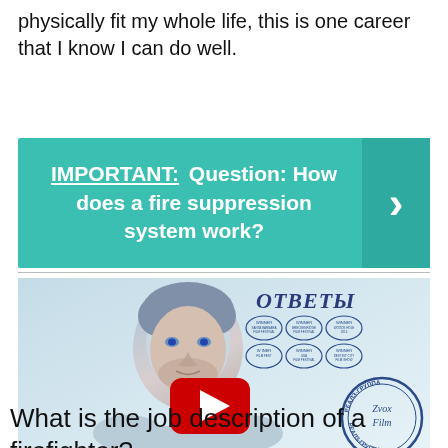physically fit my whole life, this is one career that I know I can do well.
[Figure (infographic): Teal/green banner with white bold text: IMPORTANT: Question: How does a fire suppression system work? with a right-arrow chevron on the right side]
[Figure (photo): Video thumbnail showing a young man's face (close-up portrait), with Russian text ОТВЕТЫ (Answers), multiple award laurel badges, a YouTube play button overlay, and a film studio stamp (Zvox Film / РЕАЛЗ-ГРУПП)]
What is the job description of a firefighter?